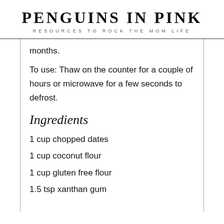PENGUINS IN PINK
RESOURCES TO ROCK THE MOM LIFE
months.
To use: Thaw on the counter for a couple of hours or microwave for a few seconds to defrost.
Ingredients
1 cup chopped dates
1 cup coconut flour
1 cup gluten free flour
1.5 tsp xanthan gum